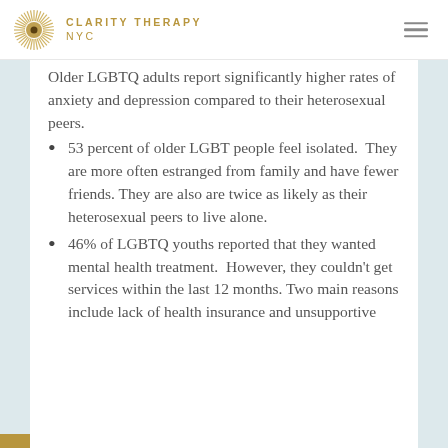CLARITY THERAPY NYC
Older LGBTQ adults report significantly higher rates of anxiety and depression compared to their heterosexual peers.
53 percent of older LGBT people feel isolated.  They are more often estranged from family and have fewer friends. They are also are twice as likely as their heterosexual peers to live alone.
46% of LGBTQ youths reported that they wanted mental health treatment.  However, they couldn't get services within the last 12 months. Two main reasons include lack of health insurance and unsupportive